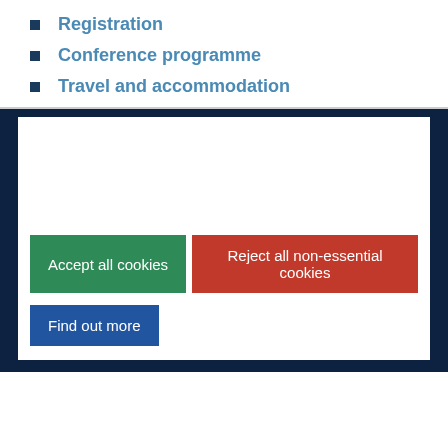Registration
Conference programme
Travel and accommodation
[Figure (screenshot): Cookie consent dialog box with white background, containing buttons: 'Accept all cookies' (green), 'Reject all non-essential cookies' (red), and 'Find out more' (blue), displayed over a dark navy background section.]